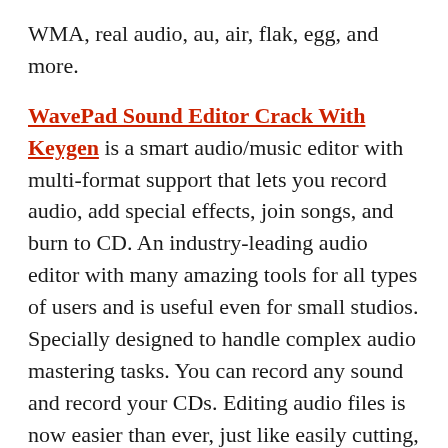WMA, real audio, au, air, flak, egg, and more.
WavePad Sound Editor Crack With Keygen is a smart audio/music editor with multi-format support that lets you record audio, add special effects, join songs, and burn to CD. An industry-leading audio editor with many amazing tools for all types of users and is useful even for small studios. Specially designed to handle complex audio mastering tasks. You can record any sound and record your CDs. Editing audio files is now easier than ever, just like easily cutting, copying, and pasting different parts of a recording. Add special effects like Echo, Amplification, and Noise Reduction with one click.
WavePad Crack 2022 is a smart AMP, compressor,